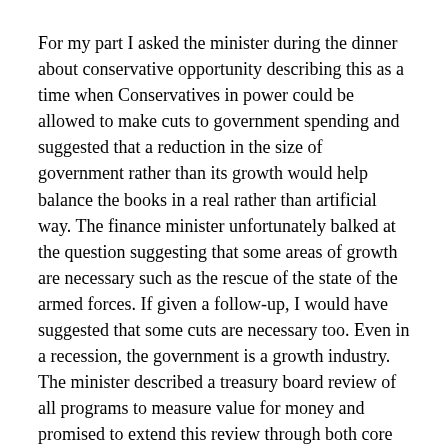For my part I asked the minister during the dinner about conservative opportunity describing this as a time when Conservatives in power could be allowed to make cuts to government spending and suggested that a reduction in the size of government rather than its growth would help balance the books in a real rather than artificial way. The finance minister unfortunately balked at the question suggesting that some areas of growth are necessary such as the rescue of the state of the armed forces. If given a follow-up, I would have suggested that some cuts are necessary too. Even in a recession, the government is a growth industry. The minister described a treasury board review of all programs to measure value for money and promised to extend this review through both core and non-core assets.
As for the public sector, wages will not increase